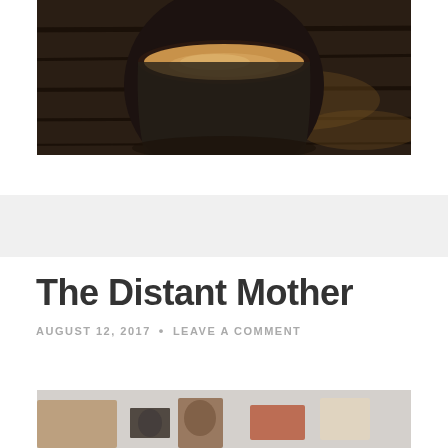[Figure (photo): Top-down view of a coffee cup with milk on a dark wooden table, partially visible at top of page]
The Distant Mother
AUGUST 12, 2017 • LEAVE A COMMENT
[Figure (photo): Flat lay of various fabric swatches and small rectangular pieces on a light grey surface, partially visible at bottom of page]